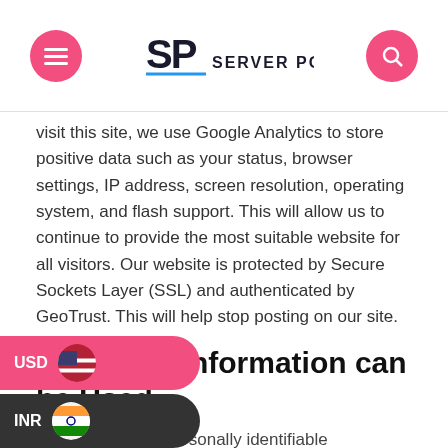Server Poet
visit this site, we use Google Analytics to store positive data such as your status, browser settings, IP address, screen resolution, operating system, and flash support. This will allow us to continue to provide the most suitable website for all visitors. Our website is protected by Secure Sockets Layer (SSL) and authenticated by GeoTrust. This will help stop posting on our site.
How Your Information can be Used
We will use your personally identifiable information in the following ways.
1. For payment purposes and to provide convenient and targeted support.
2. ...ntact you and announce special offers, announcements, and news. Please note you can opt-out of receiving these emails at any